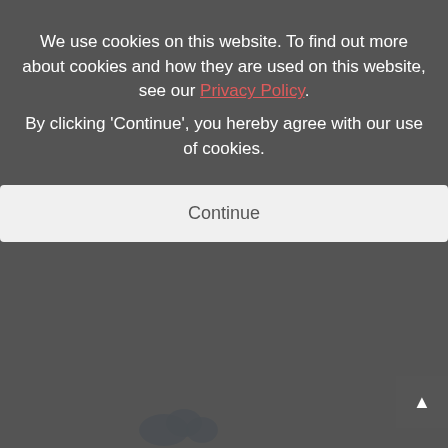We use cookies on this website. To find out more about cookies and how they are used on this website, see our Privacy Policy. By clicking 'Continue', you hereby agree with our use of cookies.
[Figure (screenshot): Cookie consent modal overlay with Continue button on a darkened website background showing cloud provider logos]
[Figure (logo): Wasabi cloud storage logo - green circular badge with leaf/grid pattern and 'wasabi' text in dark navy]
[Figure (logo): Yandex logo with red Y and black 'andex' text]
[Figure (logo): hicloud logo with teal text and orange cloud icon]